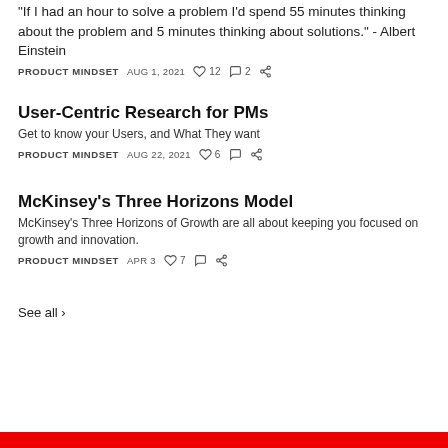"If I had an hour to solve a problem I'd spend 55 minutes thinking about the problem and 5 minutes thinking about solutions." - Albert Einstein
PRODUCT MINDSET   AUG 1, 2021   ♡ 12   💬 2   ⎋
User-Centric Research for PMs
Get to know your Users, and What They want
PRODUCT MINDSET   AUG 22, 2021   ♡ 6   💬   ⎋
McKinsey's Three Horizons Model
McKinsey's Three Horizons of Growth are all about keeping you focused on growth and innovation.
PRODUCT MINDSET   APR 3   ♡ 7   💬   ⎋
See all ›